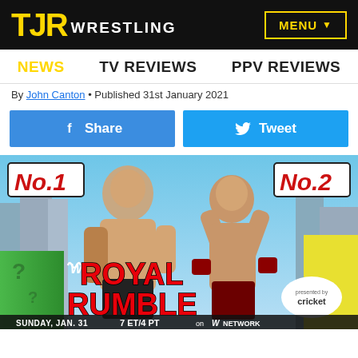TJR WRESTLING | MENU
NEWS   TV REVIEWS   PPV REVIEWS
By John Canton • Published 31st January 2021
Share | Tweet
[Figure (photo): WWE Royal Rumble promotional image featuring two wrestlers (Randy Orton as No. 1 and another as No. 2) with text: WWE Royal Rumble, Sunday, Jan. 31, 7 ET/4 PT on WWE Network, presented by Cricket]